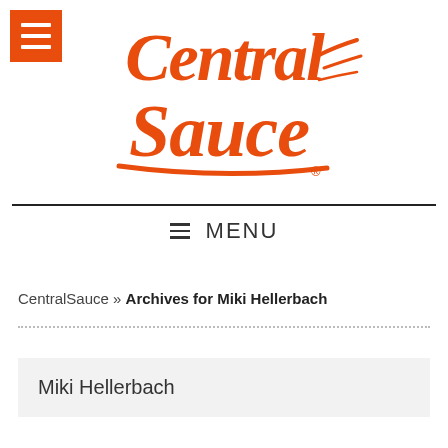[Figure (logo): Central Sauce script logo in orange with registered trademark symbol and hamburger menu icon]
≡  MENU
CentralSauce » Archives for Miki Hellerbach
Miki Hellerbach